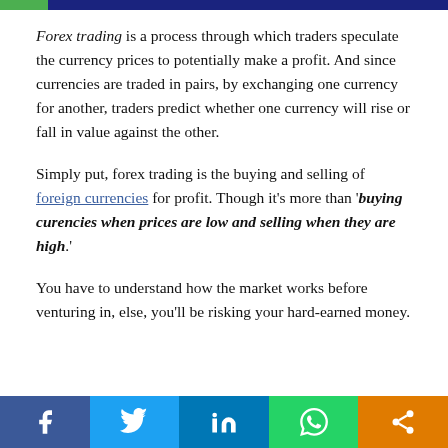Forex trading is a process through which traders speculate the currency prices to potentially make a profit. And since currencies are traded in pairs, by exchanging one currency for another, traders predict whether one currency will rise or fall in value against the other.
Simply put, forex trading is the buying and selling of foreign currencies for profit. Though it's more than 'buying curencies when prices are low and selling when they are high.'
You have to understand how the market works before venturing in, else, you'll be risking your hard-earned money.